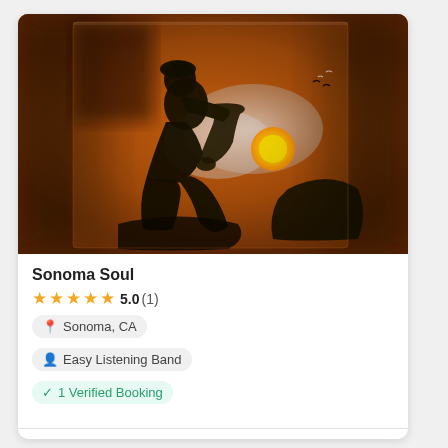[Figure (illustration): A painting of a dark silhouette of a person playing saxophone, set against an orange sunset background with a yellow sun and birds, painted in an expressive style.]
Sonoma Soul
★★★★★ 5.0 (1)
Sonoma, CA
Easy Listening Band
1 Verified Booking